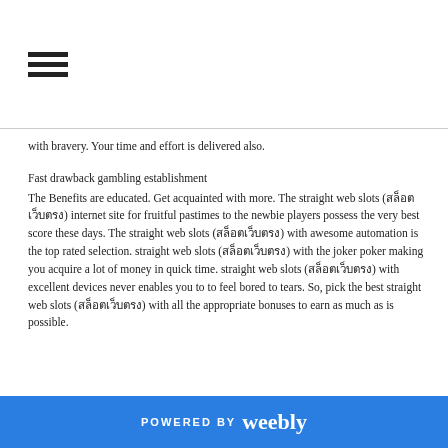[Figure (other): Hamburger menu icon with three horizontal lines]
with bravery. Your time and effort is delivered also.
Fast drawback gambling establishment
The Benefits are educated. Get acquainted with more. The straight web slots (สล็อตเว็บตรง) internet site for fruitful pastimes to the newbie players possess the very best score these days. The straight web slots (สล็อตเว็บตรง) with awesome automation is the top rated selection. straight web slots (สล็อตเว็บตรง) with the joker poker making you acquire a lot of money in quick time. straight web slots (สล็อตเว็บตรง) with excellent devices never enables you to to feel bored to tears. So, pick the best straight web slots (สล็อตเว็บตรง) with all the appropriate bonuses to earn as much as is possible.
POWERED BY weebly